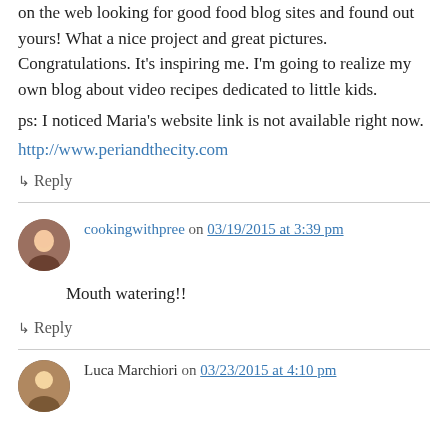on the web looking for good food blog sites and found out yours! What a nice project and great pictures. Congratulations. It's inspiring me. I'm going to realize my own blog about video recipes dedicated to little kids.
ps: I noticed Maria's website link is not available right now.
http://www.periandthecity.com
↳ Reply
cookingwithpree on 03/19/2015 at 3:39 pm
Mouth watering!!
↳ Reply
Luca Marchiori on 03/23/2015 at 4:10 pm